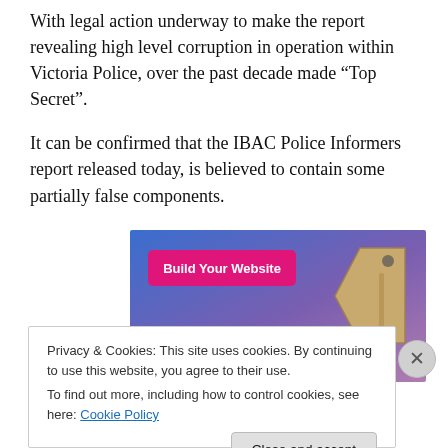With legal action underway to make the report revealing high level corruption in operation within Victoria Police, over the past decade made “Top Secret”.
It can be confirmed that the IBAC Police Informers report released today, is believed to contain some partially false components.
[Figure (screenshot): Advertisement banner with blue-to-purple gradient background, a pink button labeled 'Build Your Website', and a tan/brown price tag icon on the right.]
Privacy & Cookies: This site uses cookies. By continuing to use this website, you agree to their use.
To find out more, including how to control cookies, see here: Cookie Policy
Close and accept